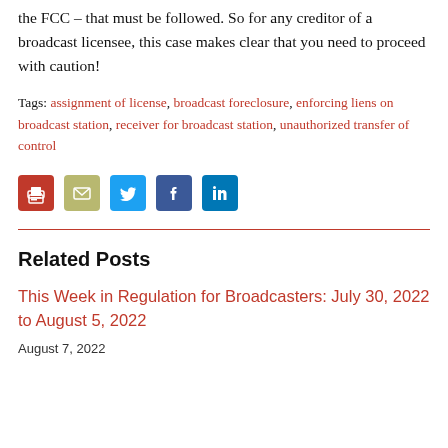the FCC – that must be followed. So for any creditor of a broadcast licensee, this case makes clear that you need to proceed with caution!
Tags: assignment of license, broadcast foreclosure, enforcing liens on broadcast station, receiver for broadcast station, unauthorized transfer of control
[Figure (infographic): Row of social sharing icons: print (red), email (olive/tan), Twitter (blue), Facebook (dark blue), LinkedIn (blue)]
Related Posts
This Week in Regulation for Broadcasters: July 30, 2022 to August 5, 2022
August 7, 2022